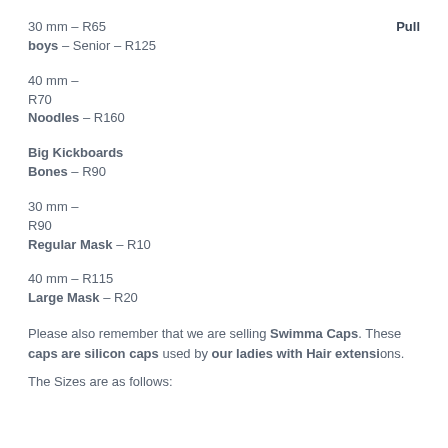30 mm – R65    Pull
boys – Senior – R125
40 mm –
R70
Noodles – R160
Big Kickboards
Bones – R90
30 mm –
R90
Regular Mask – R10
40 mm – R115
Large Mask – R20
Please also remember that we are selling Swimma Caps. These caps are silicon caps used by our ladies with Hair extensions.
The Sizes are as follows: